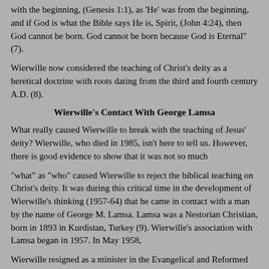with the beginning, (Genesis 1:1), as 'He' was from the beginning, and if God is what the Bible says He is, Spirit, (John 4:24), then God cannot be born. God cannot be born because God is Eternal" (7).
Wierwille now considered the teaching of Christ's deity as a heretical doctrine with roots dating from the third and fourth century A.D. (8).
Wierwille's Contact With George Lamsa
What really caused Wierwille to break with the teaching of Jesus' deity? Wierwille, who died in 1985, isn't here to tell us. However, there is good evidence to show that it was not so much
"what" as "who" caused Wierwille to reject the biblical teaching on Christ's deity. It was during this critical time in the development of Wierwille's thinking (1957-64) that he came in contact with a man by the name of George M. Lamsa. Lamsa was a Nestorian Christian, born in 1893 in Kurdistan, Turkey (9). Wierwille's association with Lamsa began in 1957. In May 1958,
Wierwille resigned as a minister in the Evangelical and Reformed denomination. Lamsa and Wierwille appear to have worked closely together during this time, with Lamsa finishing his English translation work on the Syriac Peshitta text of the Bible in